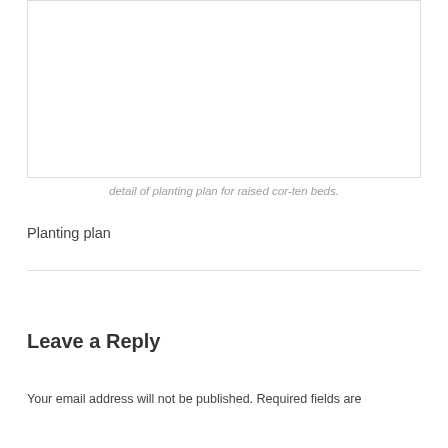[Figure (other): White blank image box with light gray border, representing a cropped planting plan image for raised cor-ten beds]
detail of planting plan for raised cor-ten beds.
Planting plan
Leave a Reply
Your email address will not be published. Required fields are